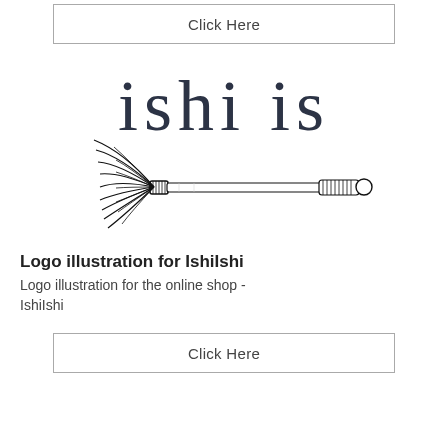[Figure (other): Click Here button at top of page]
[Figure (logo): Logo illustration for IshiIshi — large text 'ishi is' in dark serif font with an ink brush/calligraphy tool illustration below]
Logo illustration for IshiIshi
Logo illustration for the online shop - IshiIshi
[Figure (other): Click Here button at bottom of page]